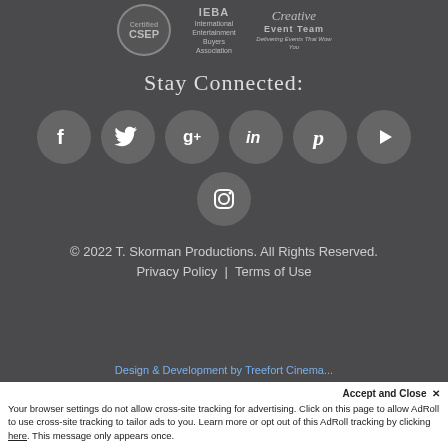[Figure (logo): Three logos: CSEP certified badge, IEBA International Entertainment Buyers Association, and Creative Event Team]
Stay Connected:
[Figure (infographic): Row of 6 social media icon buttons: Facebook, Twitter, Google+, LinkedIn, Pinterest, YouTube; and below a single Instagram icon button]
© 2022 T. Skorman Productions. All Rights Reserved.
Privacy Policy | Terms of Use
Design & Development by Treefort Cinema...
Accept and Close ✕
Your browser settings do not allow cross-site tracking for advertising. Click on this page to allow AdRoll to use cross-site tracking to tailor ads to you. Learn more or opt out of this AdRoll tracking by clicking here. This message only appears once.